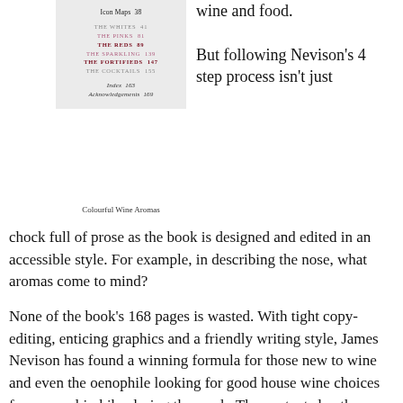[Figure (other): Table of contents page from 'Colourful Wine Aromas' book showing section listings including Icon Maps 38, The Whites 41, The Pinks 81, The Reds 89, The Sparkling 139, The Fortifieds 147, The Cocktails 155, Index 163, Acknowledgements 169]
Colourful Wine Aromas
wine and food.
But following Nevison's 4 step process isn't just chock full of prose as the book is designed and edited in an accessible style. For example, in describing the nose, what aromas come to mind?
None of the book's 168 pages is wasted. With tight copy-editing, enticing graphics and a friendly writing style, James Nevison has found a winning formula for those new to wine and even the oenophile looking for good house wine choices for a casual imbibe during the week. The contents lay the map from the "how to" of wine to the geographic regions to